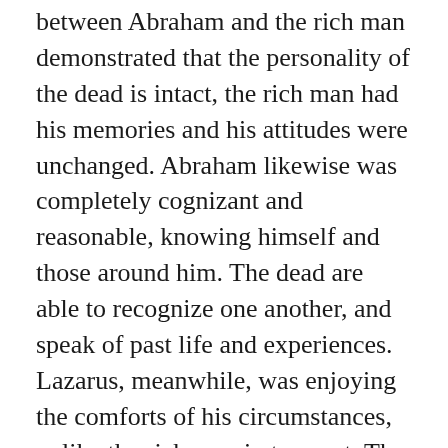between Abraham and the rich man demonstrated that the personality of the dead is intact, the rich man had his memories and his attitudes were unchanged. Abraham likewise was completely cognizant and reasonable, knowing himself and those around him. The dead are able to recognize one another, and speak of past life and experiences. Lazarus, meanwhile, was enjoying the comforts of his circumstances, unlike the rich man in torment. The comforts that Lazarus was enjoying at the side of Abraham, quite different than his experiences on earth, fit what Jesus called “paradise” when he hung on the cross. While Lazarus was consoled, the one who had been a rich man in this world knew that the physical world continued, that he had living siblings